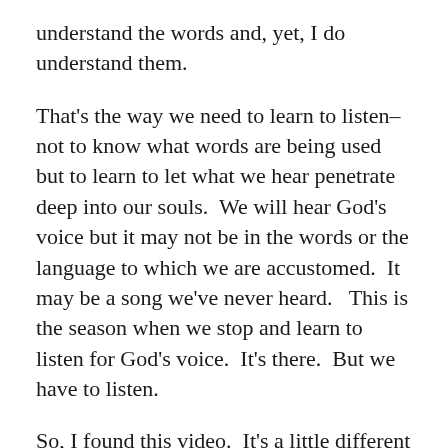understand the words and, yet, I do understand them.
That's the way we need to learn to listen–not to know what words are being used but to learn to let what we hear penetrate deep into our souls.  We will hear God's voice but it may not be in the words or the language to which we are accustomed.  It may be a song we've never heard.   This is the season when we stop and learn to listen for God's voice.  It's there.  But we have to listen.
So, I found this video.  It's a little different but I think it says a lot.  It teaches us to listen...and to sing.  It teaches us to respond to the music we hear.  (I WOULD turn the sound down a bit if